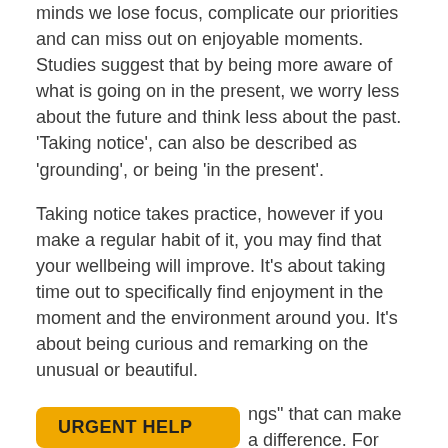minds we lose focus, complicate our priorities and can miss out on enjoyable moments. Studies suggest that by being more aware of what is going on in the present, we worry less about the future and think less about the past. 'Taking notice', can also be described as 'grounding', or being 'in the present'.
Taking notice takes practice, however if you make a regular habit of it, you may find that your wellbeing will improve. It's about taking time out to specifically find enjoyment in the moment and the environment around you. It's about being curious and remarking on the unusual or beautiful.
URGENT HELP [button] ngs" that can make a difference. For example, why don't you consider trying one of the following:
Get a plant for your workspace, or somewhere in your home.